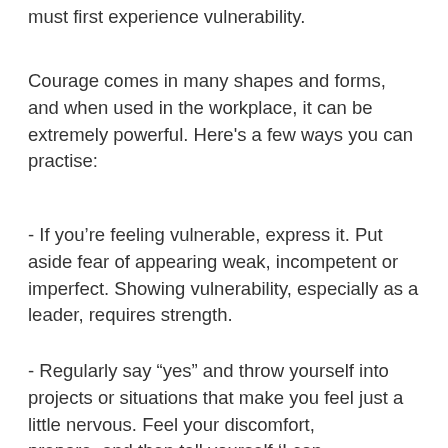must first experience vulnerability.
Courage comes in many shapes and forms, and when used in the workplace, it can be extremely powerful. Here's a few ways you can practise:
- If you’re feeling vulnerable, express it. Put aside fear of appearing weak, incompetent or imperfect. Showing vulnerability, especially as a leader, requires strength.
- Regularly say “yes” and throw yourself into projects or situations that make you feel just a little nervous. Feel your discomfort, prepare, and then tell yourself ‘I can